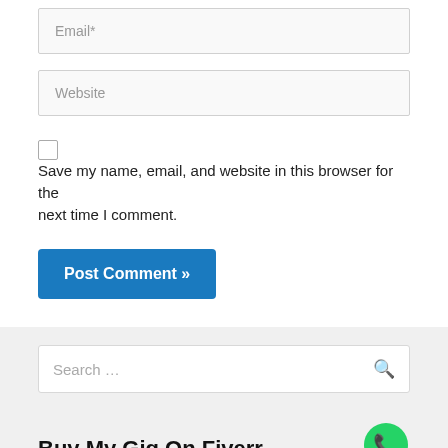Email*
Website
Save my name, email, and website in this browser for the next time I comment.
Post Comment »
Search …
Buy My Gig On Fiverr